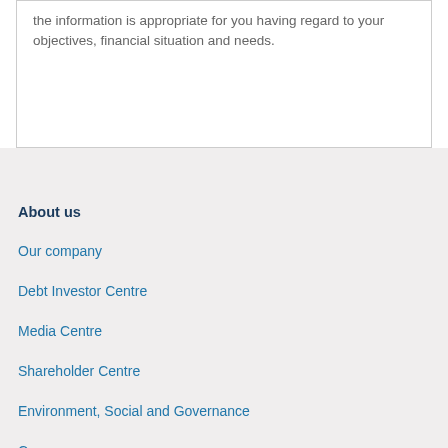the information is appropriate for you having regard to your objectives, financial situation and needs.
About us
Our company
Debt Investor Centre
Media Centre
Shareholder Centre
Environment, Social and Governance
Careers